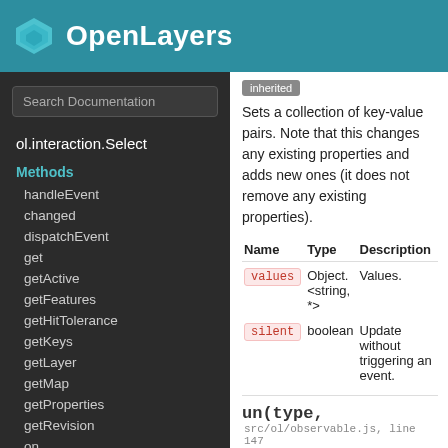OpenLayers
Search Documentation
ol.interaction.Select
Methods
handleEvent
changed
dispatchEvent
get
getActive
getFeatures
getHitTolerance
getKeys
getLayer
getMap
getProperties
getRevision
on
once
inherited
Sets a collection of key-value pairs. Note that this changes any existing properties and adds new ones (it does not remove any existing properties).
| Name | Type | Description |
| --- | --- | --- |
| values | Object.<string, *> | Values. |
| silent | boolean | Update without triggering an event. |
un(type, src/ol/observable.js, line 147
listener,